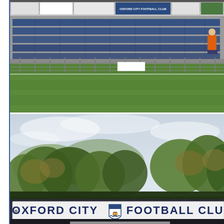[Figure (photo): Football stadium stand with blue seats, metal fencing, advertising hoardings including 'Oxford City Football Club' sign, green pitch visible in foreground. A person in orange is visible sitting in the stand.]
[Figure (photo): Exterior view of Oxford City Football Club ground showing trees in background, cloudy sky, and a white signboard reading 'OXFORD CITY [club crest] FOOTBALL CLUB' in dark blue letters at the bottom of the image.]